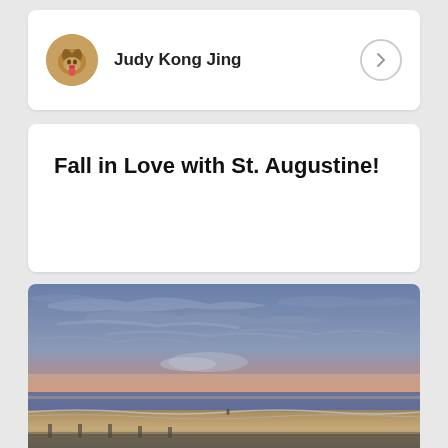[Figure (photo): User profile avatar showing a dog photo in a circular frame]
Judy Kong Jing
Fall in Love with St. Augustine!
[Figure (photo): Beach sunset photo showing a dramatic sky with blue-grey clouds, pink and orange horizon glow, and a sandy beach with ocean waves, viewed from an elevated vantage point]